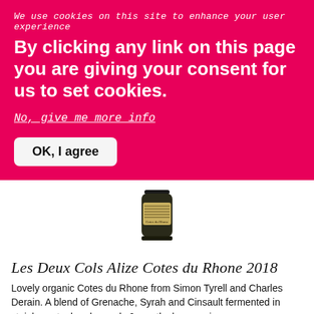We use cookies on this site to enhance your user experience
By clicking any link on this page you are giving your consent for us to set cookies.
No, give me more info
OK, I agree
[Figure (photo): Wine bottle photo - Les Deux Cols Alize Cotes du Rhone 2018]
Les Deux Cols Alize Cotes du Rhone 2018
Lovely organic Cotes du Rhone from Simon Tyrell and Charles Derain. A blend of Grenache, Syrah and Cinsault fermented in stainless steel and spends 6 months lees ageing.
| Country: | Type: | Vintage: | Bottle Size: |
| --- | --- | --- | --- |
| France | Red | 2018 | 75cl |